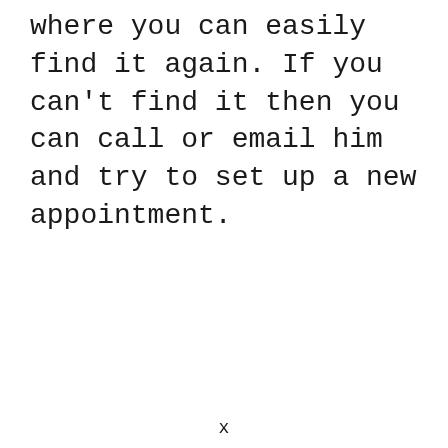where you can easily find it again. If you can't find it then you can call or email him and try to set up a new appointment.
x